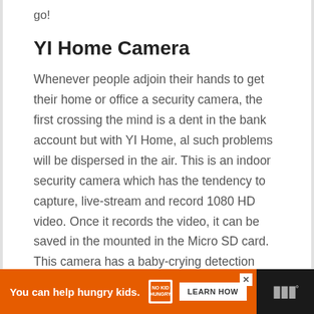go!
YI Home Camera
Whenever people adjoin their hands to get their home or office a security camera, the first crossing the mind is a dent in the bank account but with YI Home, al such problems will be dispersed in the air. This is an indoor security camera which has the tendency to capture, live-stream and record 1080 HD video. Once it records the video, it can be saved in the mounted in the Micro SD card. This camera has a baby-crying detection which makes it a perfect choice for the nurseries.
[Figure (screenshot): Orange advertisement banner for No Kid Hungry with text 'You can help hungry kids.' and a 'LEARN HOW' button, on a dark background with a logo on the right.]